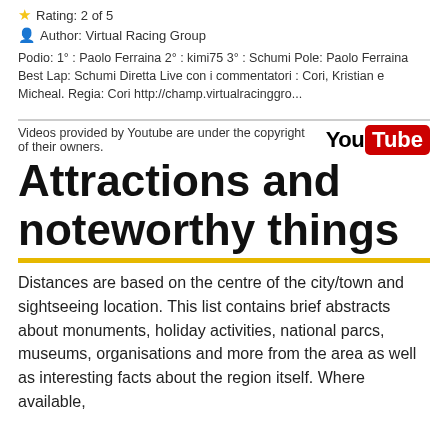Rating: 2 of 5
Author: Virtual Racing Group
Podio: 1° : Paolo Ferraina 2° : kimi75 3° : Schumi Pole: Paolo Ferraina Best Lap: Schumi Diretta Live con i commentatori : Cori, Kristian e Micheal. Regia: Cori http://champ.virtualracinggro...
Videos provided by Youtube are under the copyright of their owners.
[Figure (logo): YouTube logo]
Attractions and noteworthy things
Distances are based on the centre of the city/town and sightseeing location. This list contains brief abstracts about monuments, holiday activities, national parcs, museums, organisations and more from the area as well as interesting facts about the region itself. Where available,